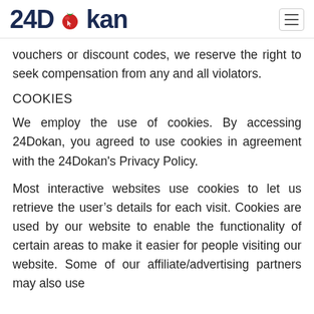24Dokan
vouchers or discount codes, we reserve the right to seek compensation from any and all violators.
COOKIES
We employ the use of cookies. By accessing 24Dokan, you agreed to use cookies in agreement with the 24Dokan's Privacy Policy.
Most interactive websites use cookies to let us retrieve the user’s details for each visit. Cookies are used by our website to enable the functionality of certain areas to make it easier for people visiting our website. Some of our affiliate/advertising partners may also use